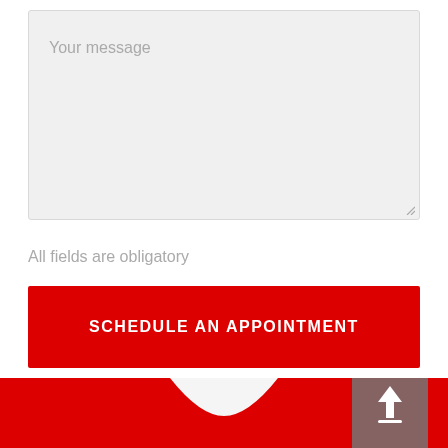[Figure (screenshot): A textarea input field with placeholder text 'Your message' and a resize handle in the bottom-right corner, styled with a light gray background.]
All fields are obligatory
SCHEDULE AN APPOINTMENT
[Figure (other): Red footer bar with a wave/notch cutout at the top center and a gray rounded upload button on the right side containing an upload arrow icon.]